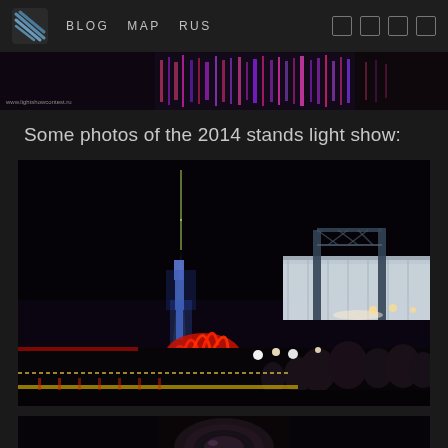BLOG   MAP   RUS
[Figure (photo): Panoramic banner strip showing a nighttime light show event with colorful lights]
Some photos of the 2014 stands light show:
[Figure (photo): Nighttime photo of a tall illuminated tower (resembling Ostankino Tower) lit in blue and white with red decorative structures and a crowd in the foreground at a light show event]
[Figure (photo): Partial view of a second photo at the bottom of the page showing camera lens or event equipment]